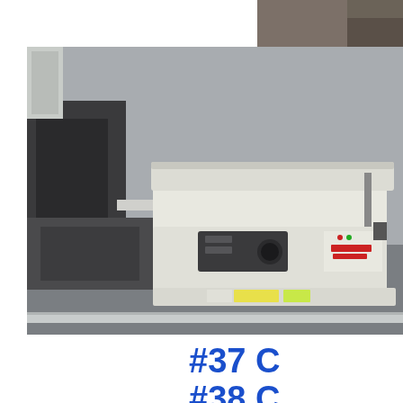[Figure (photo): Partial photo in top-right corner showing what appears to be a dark/grey surface or equipment corner]
[Figure (photo): Photo of a Canon PC-series flatbed copier/scanner sitting on grey carpet in an office environment, with other equipment visible in the background against a grey wall]
#37 C
#38 C